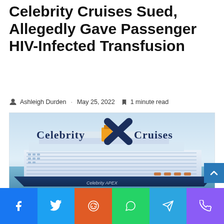Celebrity Cruises Sued, Allegedly Gave Passenger HIV-Infected Transfusion
Ashleigh Durden · May 25, 2022 🔖 1 minute read
[Figure (photo): Celebrity Cruises ship (Celebrity APEX) on open water with Celebrity X Cruises logo overlay]
Social share bar: Facebook, Twitter, Reddit, WhatsApp, Telegram, Phone